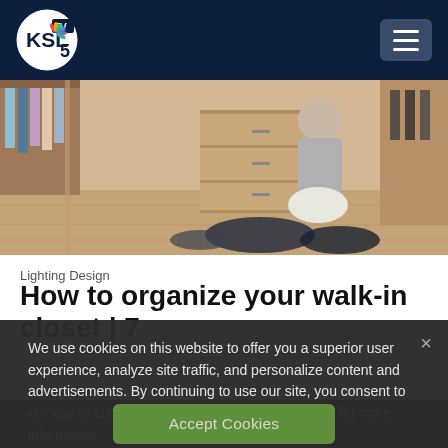[Figure (logo): KSL TV 5 NBC logo in white circle on dark navy header bar, with hamburger menu button on the right]
[Figure (photo): Person kneeling on floor of walk-in closet surrounded by clothes, wooden shelving and drawers visible in background]
Lighting Design
How to organize your walk-in closet | 7
We use cookies on this website to offer you a superior user experience, analyze site traffic, and personalize content and advertisements. By continuing to use our site, you consent to our use of cookies. Please visit our Privacy Policy for more information.
Accept Cookies